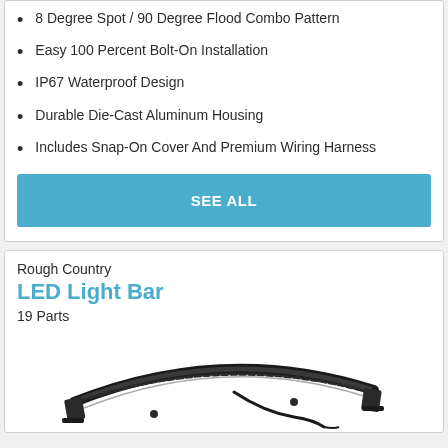8 Degree Spot / 90 Degree Flood Combo Pattern
Easy 100 Percent Bolt-On Installation
IP67 Waterproof Design
Durable Die-Cast Aluminum Housing
Includes Snap-On Cover And Premium Wiring Harness
SEE ALL
Rough Country
LED Light Bar
19 Parts
[Figure (photo): LED Light Bar product photo showing a curved light bar with mounting hardware and wiring on a white background]